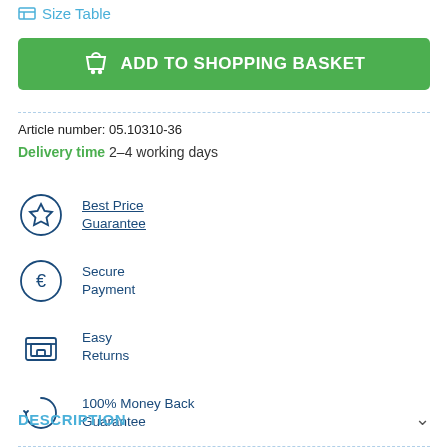Size Table
ADD TO SHOPPING BASKET
Article number: 05.10310-36
Delivery time 2-4 working days
Best Price Guarantee
Secure Payment
Easy Returns
100% Money Back Guarantee
DESCRIPTION